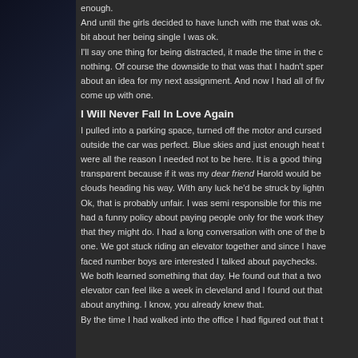enough. And until the girls decided to have lunch with me that was ok. bit about her being single I was ok.
I'll say one thing for being distracted, it made the time in the c nothing. Of course the downside to that was that I hadn't spen about an idea for my next assignment. And now I had all of fiv come up with one.
I Will Never Fall In Love Again
I pulled into a parking space, turned off the motor and cursed outside the car was perfect. Blue skies and just enough heat t were all the reason I needed not to be here. It is a good thing transparent because if it was my dear friend Harold would be clouds heading his way. With any luck he'd be struck by lightn Ok, that is probably unfair. I was semi responsible for this me had a funny policy about paying people only for the work they that they might do. I had a long conversation with one of the b one. We got stuck riding an elevator together and since I have faced number boys are interested I talked about paychecks. We both learned something that day. He found out that a two elevator can feel like a week in cleveland and I found out that about anything. I know, you already knew that. By the time I had walked into the office I had figured out that t